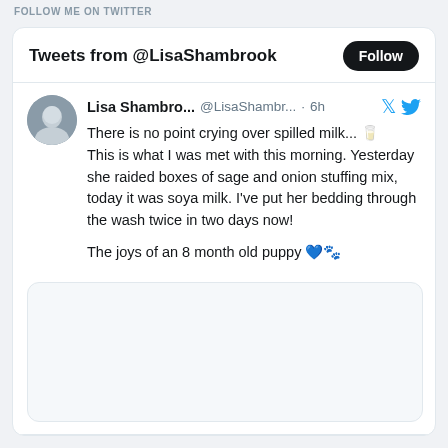FOLLOW ME ON TWITTER
Tweets from @LisaShambrook
Lisa Shambro... @LisaShambr... · 6h
There is no point crying over spilled milk... 🥛 This is what I was met with this morning. Yesterday she raided boxes of sage and onion stuffing mix, today it was soya milk. I've put her bedding through the wash twice in two days now!

The joys of an 8 month old puppy 💙🐾
[Figure (photo): Empty image placeholder area below the tweet]